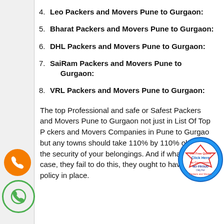4. Leo Packers and Movers Pune to Gurgaon:
5. Bharat Packers and Movers Pune to Gurgaon:
6. DHL Packers and Movers Pune to Gurgaon:
7. SaiRam Packers and Movers Pune to Gurgaon:
8. VRL Packers and Movers Pune to Gurgaon:
The top Professional and safe or Safest Packers and Movers Pune to Gurgaon not just in List Of Top Packers and Movers Companies in Pune to Gurgaon but any towns should take 110% by 110% obligation the security of your belongings. And if whatever the case, they fail to do this, they ought to have a return policy in place.